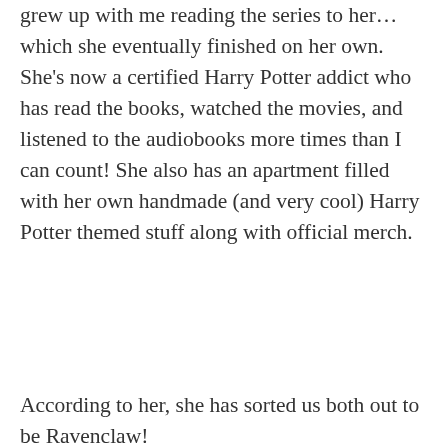grew up with me reading the series to her… which she eventually finished on her own. She's now a certified Harry Potter addict who has read the books, watched the movies, and listened to the audiobooks more times than I can count! She also has an apartment filled with her own handmade (and very cool) Harry Potter themed stuff along with official merch.
According to her, she has sorted us both out to be Ravenclaw!
★ Liked by 1 person
Privacy & Cookies: This site uses cookies. By continuing to use this website, you agree to their use.
To find out more, including how to control cookies, see here: Cookie Policy
Close and accept